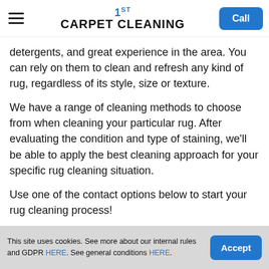1ST CARPET CLEANING — Call
detergents, and great experience in the area. You can rely on them to clean and refresh any kind of rug, regardless of its style, size or texture.
We have a range of cleaning methods to choose from when cleaning your particular rug. After evaluating the condition and type of staining, we'll be able to apply the best cleaning approach for your specific rug cleaning situation.
Use one of the contact options below to start your rug cleaning process!
This site uses cookies. See more about our internal rules and GDPR HERE. See general conditions HERE.